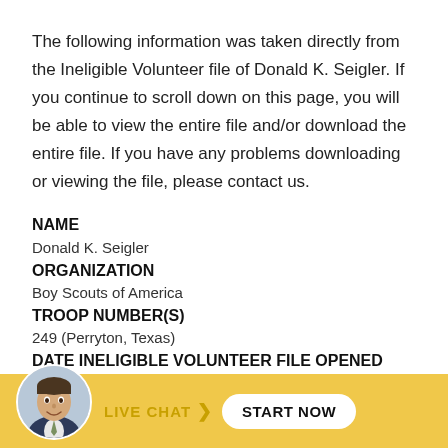The following information was taken directly from the Ineligible Volunteer file of Donald K. Seigler. If you continue to scroll down on this page, you will be able to view the entire file and/or download the entire file. If you have any problems downloading or viewing the file, please contact us.
NAME
Donald K. Seigler
ORGANIZATION
Boy Scouts of America
TROOP NUMBER(S)
249 (Perryton, Texas)
DATE INELIGIBLE VOLUNTEER FILE OPENED
August 14, 1978
Resider... P...